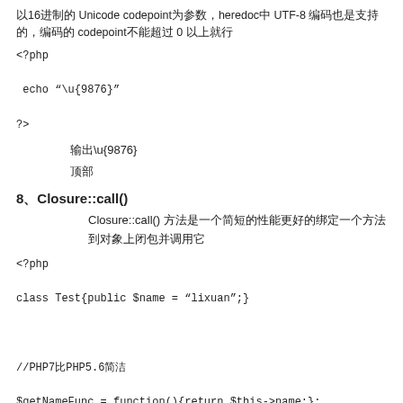以16进制的 Unicode codepoint为参数，heredoc中 UTF-8 编码也是支持的，编码的 codepoint不能超过 0 以上就行
<?php

echo "\u{9876}"

?>
输出\u{9876}
顶部
8、Closure::call()
Closure::call() 方法是一个简短的性能更好的绑定一个方法到对象上闭包并调用它
<?php

class Test{public $name = "lixuan";}



//PHP7比PHP5.6简洁

$getNameFunc = function(){return $this->name;};